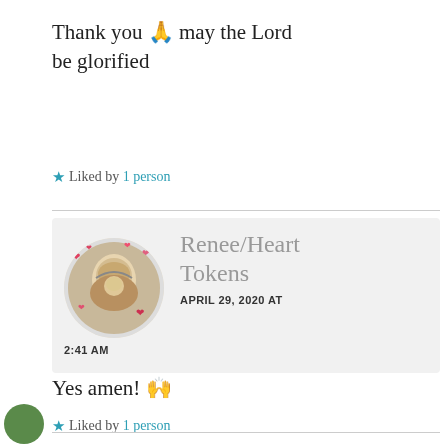Thank you 🙏 may the Lord be glorified
★ Liked by 1 person
[Figure (other): User profile avatar with hearts border — Renee/HeartTokens commenter profile picture]
Renee/HeartTokens APRIL 29, 2020 AT 2:41 AM
Yes amen! 🙌
★ Liked by 1 person